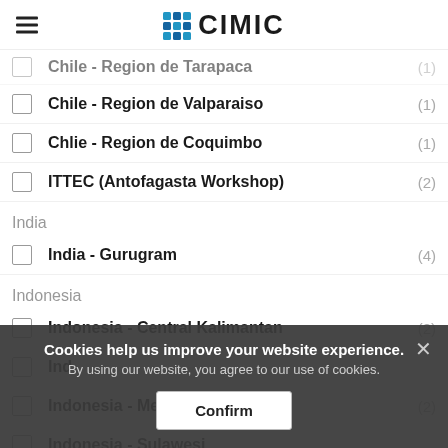CIMIC
Chile - Region de Tarapaca (1)
Chile - Region de Valparaiso (1)
Chlie - Region de Coquimbo (1)
ITTEC (Antofagasta Workshop) (2)
India
India - Gurugram (4)
Indonesia
Indonesia - Central Kalimantan (2)
Indonesia - (partially obscured)
Indonesia - Melak Coal Mine (2)
Indonesia - Sulawesi
Cookies help us improve your website experience. By using our website, you agree to our use of cookies.
Confirm